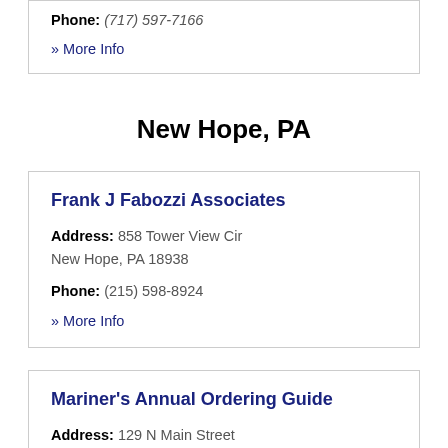Phone: (717) 597-7166
» More Info
New Hope, PA
Frank J Fabozzi Associates
Address: 858 Tower View Cir New Hope, PA 18938
Phone: (215) 598-8924
» More Info
Mariner's Annual Ordering Guide
Address: 129 N Main Street